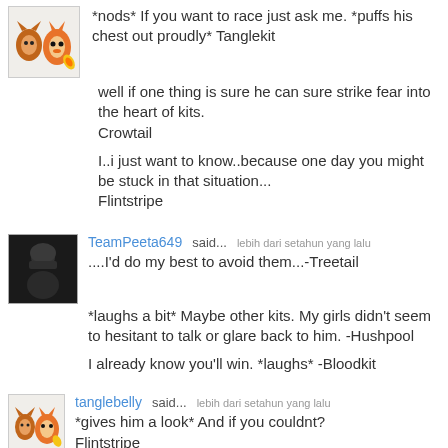[Figure (illustration): Avatar image of cartoon characters (fox and Charmander-like creature)]
*nods* If you want to race just ask me. *puffs his chest out proudly* Tanglekit
well if one thing is sure he can sure strike fear into the heart of kits. Crowtail
I..i just want to know..because one day you might be stuck in that situation... Flintstripe
TeamPeeta649 said... lebih dari setahun yang lalu
[Figure (photo): Dark avatar photo of a figure]
....I'd do my best to avoid them...-Treetail
*laughs a bit* Maybe other kits. My girls didn't seem to hesitant to talk or glare back to him. -Hushpool
I already know you'll win. *laughs* -Bloodkit
tanglebelly said... lebih dari setahun yang lalu
[Figure (illustration): Avatar image of cartoon characters (fox and Charmander-like creature)]
*gives him a look* And if you couldnt? Flintstripe